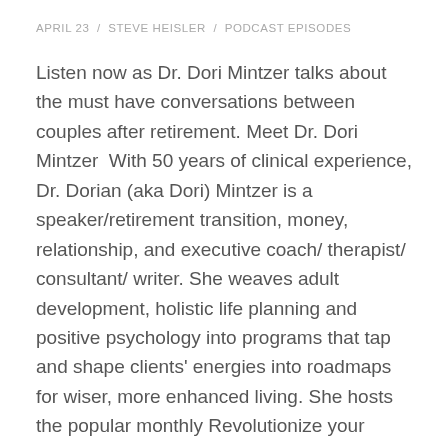APRIL 23  /  STEVE HEISLER  /  PODCAST EPISODES
Listen now as Dr. Dori Mintzer talks about the must have conversations between couples after retirement. Meet Dr. Dori Mintzer  With 50 years of clinical experience, Dr. Dorian (aka Dori) Mintzer is a speaker/retirement transition, money, relationship, and executive coach/ therapist/ consultant/ writer. She weaves adult development, holistic life planning and positive psychology into programs that tap and shape clients' energies into roadmaps for wiser, more enhanced living. She hosts the popular monthly Revolutionize your Retirement Interview with Expert's Series on the 4th Tuesday of each month, open to professionals and the public.